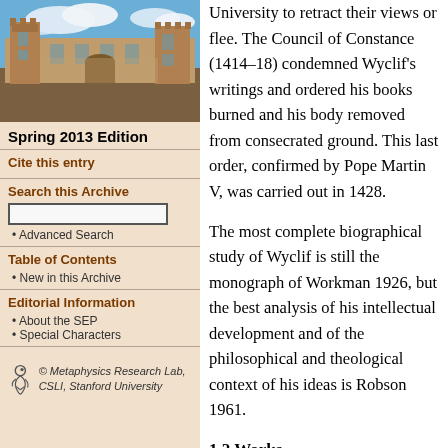[Figure (photo): Photograph of a stone university building with blue sky and clouds]
Spring 2013 Edition
Cite this entry
Search this Archive
Advanced Search
Table of Contents
New in this Archive
Editorial Information
About the SEP
Special Characters
© Metaphysics Research Lab, CSLI, Stanford University
University to retract their views or flee. The Council of Constance (1414–18) condemned Wyclif's writings and ordered his books burned and his body removed from consecrated ground. This last order, confirmed by Pope Martin V, was carried out in 1428.
The most complete biographical study of Wyclif is still the monograph of Workman 1926, but the best analysis of his intellectual development and of the philosophical and theological context of his ideas is Robson 1961.
1.2 Works